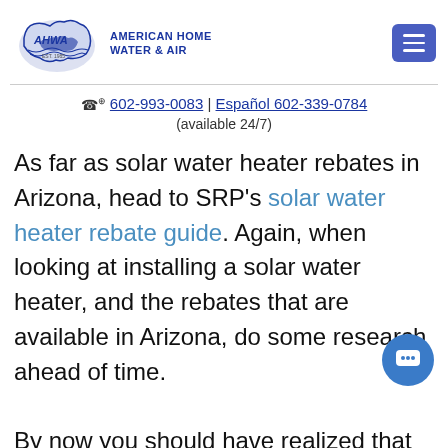[Figure (logo): AHWA American Home Water & Air logo with US map outline and navigation menu button]
☎ 602-993-0083 | Español 602-339-0784
(available 24/7)
As far as solar water heater rebates in Arizona, head to SRP's solar water heater rebate guide. Again, when looking at installing a solar water heater, and the rebates that are available in Arizona, do some research ahead of time.

By now you should have realized that the key to getting rebates for your water heater depends almost